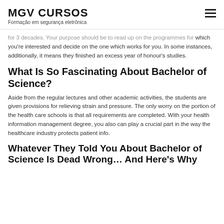MGV CURSOS
Formação em segurança eletrônica
for 3 decades. Your purpose should be to read up on the programmes for which you're interested and decide on the one which works for you. In some instances, additionally, it means they finished an excess year of honour's studies.
What Is So Fascinating About Bachelor of Science?
Aside from the regular lectures and other academic activities, the students are given provisions for relieving strain and pressure. The only worry on the portion of the health care schools is that all requirements are completed. With your health information management degree, you also can play a crucial part in the way the healthcare industry protects patient info.
Whatever They Told You About Bachelor of Science Is Dead Wrong… And Here's Why